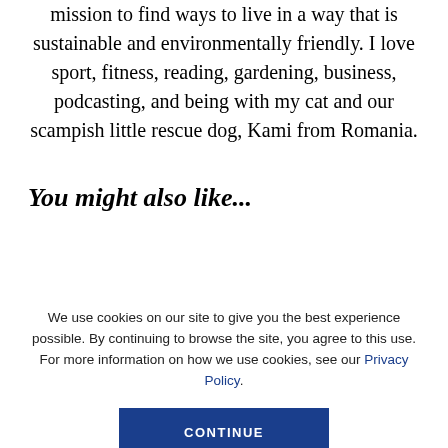mission to find ways to live in a way that is sustainable and environmentally friendly. I love sport, fitness, reading, gardening, business, podcasting, and being with my cat and our scampish little rescue dog, Kami from Romania.
You might also like...
We use cookies on our site to give you the best experience possible. By continuing to browse the site, you agree to this use. For more information on how we use cookies, see our Privacy Policy.
CONTINUE